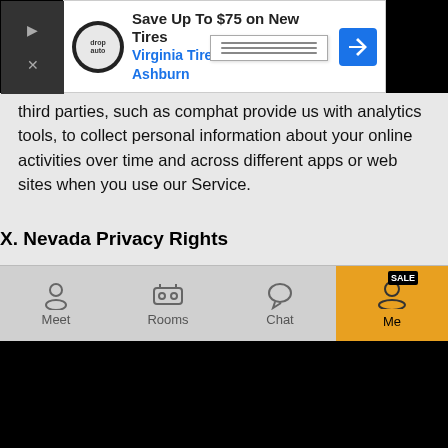[Figure (screenshot): Advertisement banner for Virginia Tire & Auto of Ashburn: Save Up To $75 on New Tires]
third parties, such as companies that provide us with analytics tools, to collect personal information about your online activities over time and across different apps or web sites when you use our Service.
X. Nevada Privacy Rights
We do not sell consumers' covered information for monetary consideration (as defined in Chapter 603A of the Nevada Revised Statutes). However, if you are a Nevada resident, you have the right to submit a request directing us not to sell your personal information. To submit such a request, please contact us by mail at JNJ Mobile Inc., 6 Liberty Sq PMB 96493, Boston MA 02109, by email at support@mocospace.com or contact us here
XI. European Economic Area Residents
[Figure (screenshot): Mobile app navigation bar with Meet, Rooms, Chat, and Me (highlighted with orange/gold background and SALE badge) tabs]